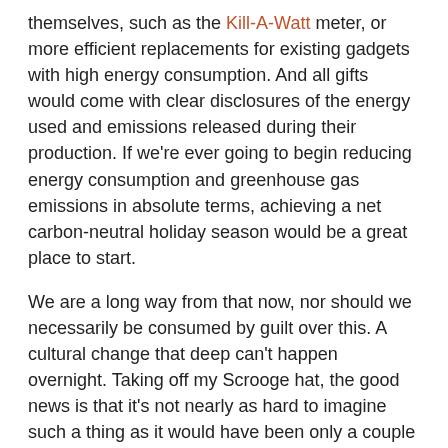themselves, such as the Kill-A-Watt meter, or more efficient replacements for existing gadgets with high energy consumption. And all gifts would come with clear disclosures of the energy used and emissions released during their production. If we're ever going to begin reducing energy consumption and greenhouse gas emissions in absolute terms, achieving a net carbon-neutral holiday season would be a great place to start.
We are a long way from that now, nor should we necessarily be consumed by guilt over this. A cultural change that deep can't happen overnight. Taking off my Scrooge hat, the good news is that it's not nearly as hard to imagine such a thing as it would have been only a couple of years ago. Perhaps we're starting to see climate change as our all-too-real Ghost of Christmas Future. Today, suggesting a carbon-neutral holiday season probably wouldn't get you laughed at, though it's not going to attract many invitations for eggnog and cookies. In that spirit, I would like to wish all my readers the joys of the season, even if it's not yet as green as it might be.
Energy Outlook will be on holiday break until 12/31.